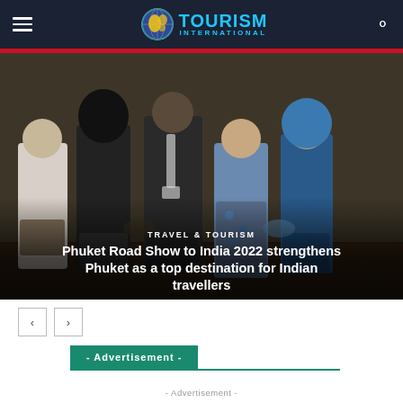TOURISM INTERNATIONAL
[Figure (photo): Group of people seated in a conference or event setting, partially visible from the waist down, wearing formal attire]
TRAVEL & TOURISM
Phuket Road Show to India 2022 strengthens Phuket as a top destination for Indian travellers
- Advertisement -